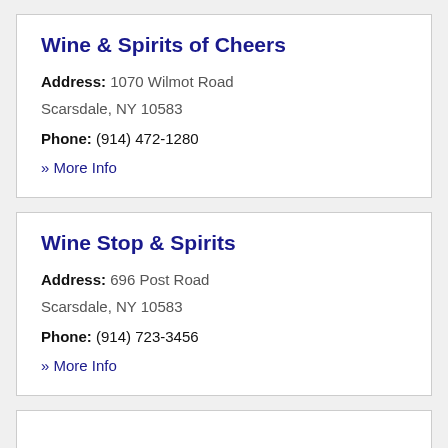Wine & Spirits of Cheers
Address: 1070 Wilmot Road Scarsdale, NY 10583
Phone: (914) 472-1280
» More Info
Wine Stop & Spirits
Address: 696 Post Road Scarsdale, NY 10583
Phone: (914) 723-3456
» More Info